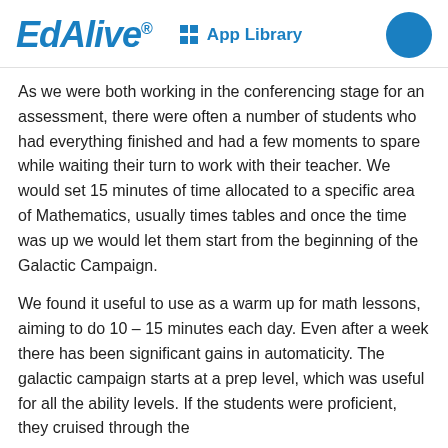EdAlive® App Library
As we were both working in the conferencing stage for an assessment, there were often a number of students who had everything finished and had a few moments to spare while waiting their turn to work with their teacher. We would set 15 minutes of time allocated to a specific area of Mathematics, usually times tables and once the time was up we would let them start from the beginning of the Galactic Campaign.
We found it useful to use as a warm up for math lessons, aiming to do 10 – 15 minutes each day. Even after a week there has been significant gains in automaticity. The galactic campaign starts at a prep level, which was useful for all the ability levels. If the students were proficient, they cruised through the